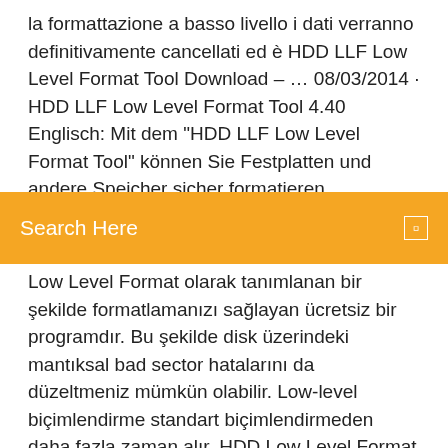la formattazione a basso livello i dati verranno definitivamente cancellati ed è HDD LLF Low Level Format Tool Download – … 08/03/2014 · HDD LLF Low Level Format Tool 4.40 Englisch: Mit dem "HDD LLF Low Level Format Tool" können Sie Festplatten und andere Speicher sicher formatieren.
[Figure (other): Search bar with orange background and text 'Search Here' with a search icon on the right]
Low Level Format olarak tanımlanan bir şekilde formatlamanızı sağlayan ücretsiz bir programdır. Bu şekilde disk üzerindeki mantıksal bad sector hatalarını da düzeltmeniz mümkün olabilir. Low-level biçimlendirme standart biçimlendirmeden daha fazla zaman alır. HDD Low Level Format Tool 4.40 - … Top 4 Download periodically updates software information of HDD Low Level Format Tool 4.40 full version from the publisher, but some information may be slightly out-of-date.. Using warez version, crack, warez passwords, patches, serial numbers, registration codes, key generator, pirate key, keymaker or keygen for HDD